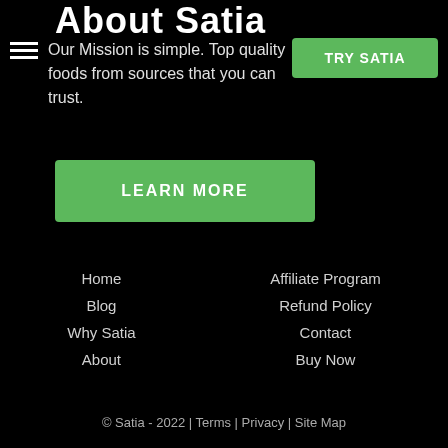About Satia
Our Mission is simple. Top quality foods from sources that you can trust.
TRY SATIA
LEARN MORE
Home
Blog
Why Satia
About
Affiliate Program
Refund Policy
Contact
Buy Now
© Satia - 2022 | Terms | Privacy | Site Map